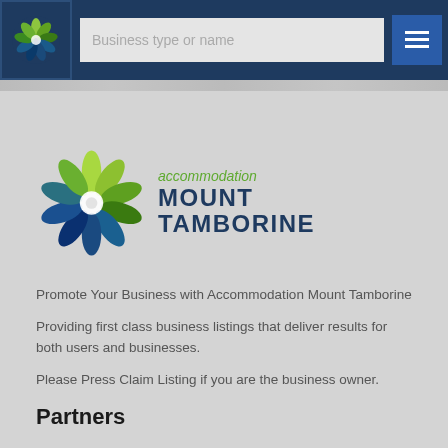Business type or name
[Figure (logo): Accommodation Mount Tamborine logo with spiral leaf design in green and blue, text reads 'accommodation MOUNT TAMBORINE']
Promote Your Business with Accommodation Mount Tamborine
Providing first class business listings that deliver results for both users and businesses.
Please Press Claim Listing if you are the business owner.
Partners